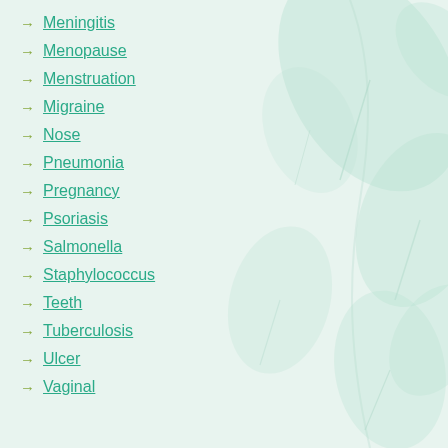Meningitis
Menopause
Menstruation
Migraine
Nose
Pneumonia
Pregnancy
Psoriasis
Salmonella
Staphylococcus
Teeth
Tuberculosis
Ulcer
Vaginal